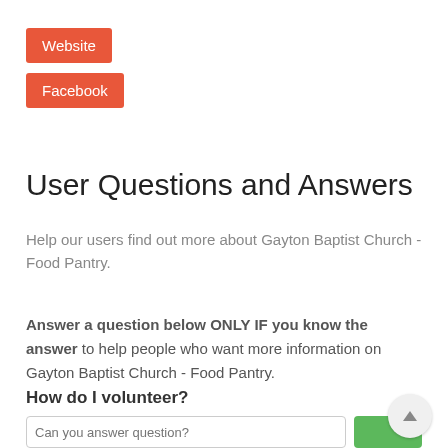Website
Facebook
User Questions and Answers
Help our users find out more about Gayton Baptist Church - Food Pantry.
Answer a question below ONLY IF you know the answer to help people who want more information on Gayton Baptist Church - Food Pantry.
How do I volunteer?
Can you answer question?